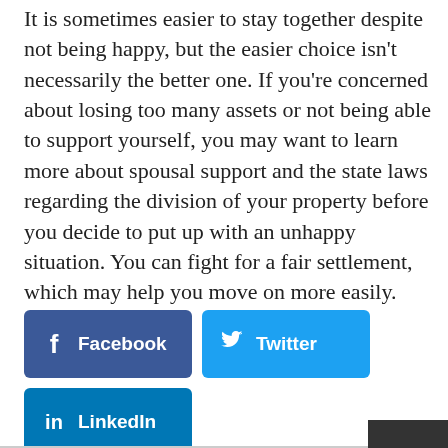It is sometimes easier to stay together despite not being happy, but the easier choice isn't necessarily the better one. If you're concerned about losing too many assets or not being able to support yourself, you may want to learn more about spousal support and the state laws regarding the division of your property before you decide to put up with an unhappy situation. You can fight for a fair settlement, which may help you move on more easily.
[Figure (infographic): Three social share buttons: Facebook (dark blue), Twitter (light blue), LinkedIn (medium blue)]